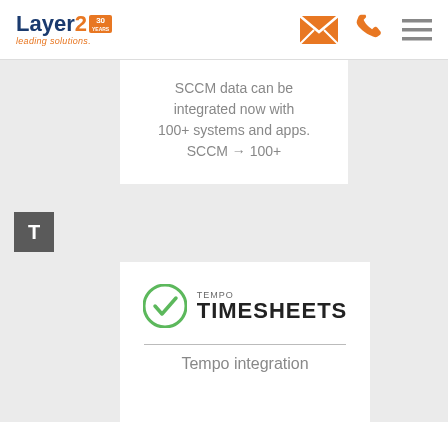Layer2 leading solutions. [navigation icons]
SCCM data can be integrated now with 100+ systems and apps. SCCM → 100+
[Figure (logo): Letter T badge in dark grey square]
[Figure (logo): Tempo Timesheets logo with green circle checkmark icon]
Tempo integration